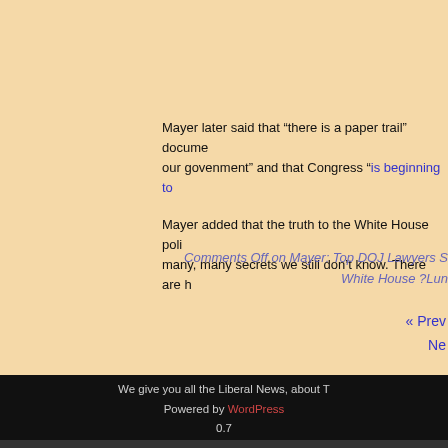Mayer later said that “there is a paper trail” documenting our govenment” and that Congress “is beginning to
Mayer added that the truth to the White House poli many, many secrets we still don’t know. There are h
Comments Off on Mayer: Top DOJ Lawyers S White House ?Lun
« Prev Ne
We give you all the Liberal News, about T Powered by WordPress 0.7